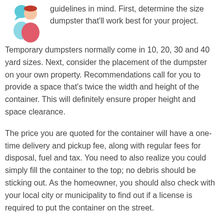[Figure (illustration): Two cartoon person icons (one with blue speech bubble head, one pink/red torso) representing people talking or consulting]
guidelines in mind. First, determine the size dumpster that'll work best for your project. Temporary dumpsters normally come in 10, 20, 30 and 40 yard sizes. Next, consider the placement of the dumpster on your own property. Recommendations call for you to provide a space that's twice the width and height of the container. This will definitely ensure proper height and space clearance.
The price you are quoted for the container will have a one-time delivery and pickup fee, along with regular fees for disposal, fuel and tax. You need to also realize you could simply fill the container to the top; no debris should be sticking out. As the homeowner, you should also check with your local city or municipality to find out if a license is required to put the container on the street.
Local vs. National Dumpster Rental Companies in Hager City